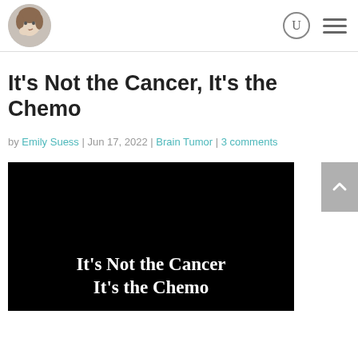[Figure (photo): Circular avatar photo of a person (Emily Suess) in the website header/navigation bar]
It’s Not the Cancer, It’s the Chemo
by Emily Suess | Jun 17, 2022 | Brain Tumor | 3 comments
[Figure (photo): Black background image with white serif text reading 'It’s Not the Cancer It’s the Chemo']